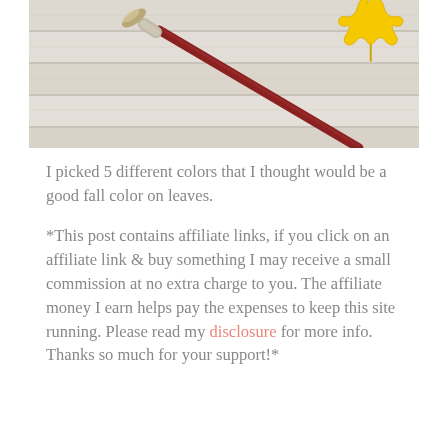[Figure (photo): A paintbrush with a dark red handle resting on white weathered wood boards, with a yellow maple leaf in the upper right corner.]
I picked 5 different colors that I thought would be a good fall color on leaves.
*This post contains affiliate links, if you click on an affiliate link & buy something I may receive a small commission at no extra charge to you. The affiliate money I earn helps pay the expenses to keep this site running. Please read my disclosure for more info. Thanks so much for your support!*